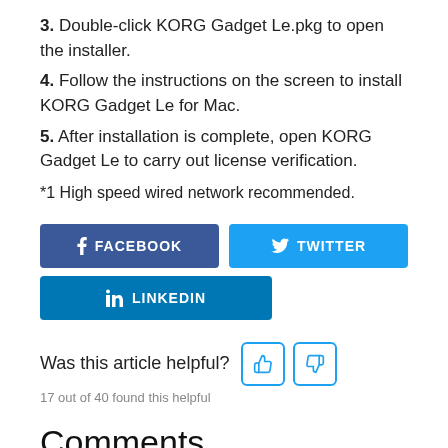3. Double-click KORG Gadget Le.pkg to open the installer.
4. Follow the instructions on the screen to install KORG Gadget Le for Mac.
5. After installation is complete, open KORG Gadget Le to carry out license verification.
*1 High speed wired network recommended.
[Figure (infographic): Social sharing buttons: Facebook, Twitter, LinkedIn]
Was this article helpful?
17 out of 40 found this helpful
Comments